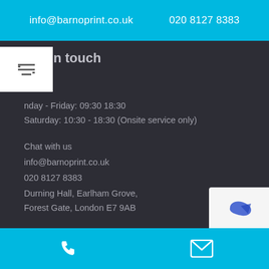info@barnoprint.co.uk    020 8127 8383
Get in touch
Monday - Friday: 09:30 18:30
Saturday: 10:30 - 18:30 (Onsite service only)
Chat with us
info@barnoprint.co.uk
020 8127 8383
Durning Hall, Earlham Grove,
Forest Gate, London E7 9AB
Connect with us
phone icon  mail icon